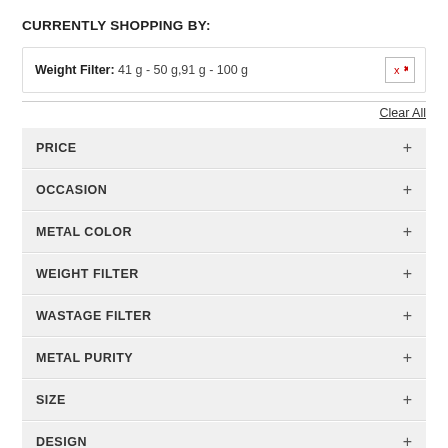CURRENTLY SHOPPING BY:
Weight Filter: 41 g - 50 g,91 g - 100 g
Clear All
PRICE +
OCCASION +
METAL COLOR +
WEIGHT FILTER +
WASTAGE FILTER +
METAL PURITY +
SIZE +
DESIGN +